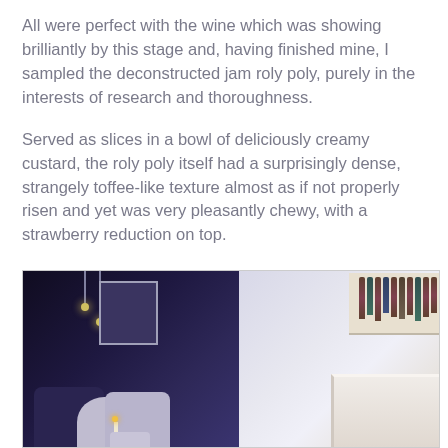All were perfect with the wine which was showing brilliantly by this stage and, having finished mine, I sampled the deconstructed jam roly poly, purely in the interests of research and thoroughness.
Served as slices in a bowl of deliciously creamy custard, the roly poly itself had a surprisingly dense, strangely toffee-like texture almost as if not properly risen and yet was very pleasantly chewy, with a strawberry reduction on top.
We had been invited to check out the restaurant's VIP area after our meal and were ushered through to be welcomed by the mixologist with an extensive cocktail list.
[Figure (photo): Interior photo of a restaurant VIP/bar area, split view showing a dimly lit lounge with purple/blue tones on the left with chairs and hanging lights, and a bright white bar area on the right with shelves of bottles and a marble bar counter.]